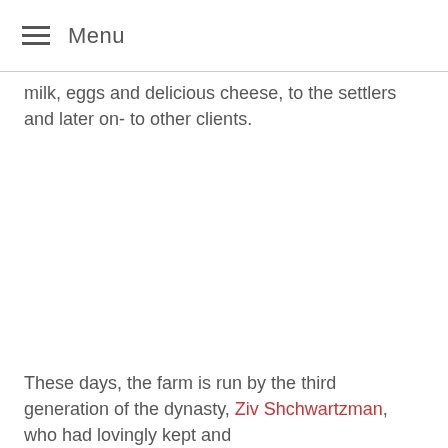Menu
milk, eggs and delicious cheese, to the settlers and later on- to other clients.
These days, the farm is run by the third generation of the dynasty, Ziv Shchwartzman, who had lovingly kept and